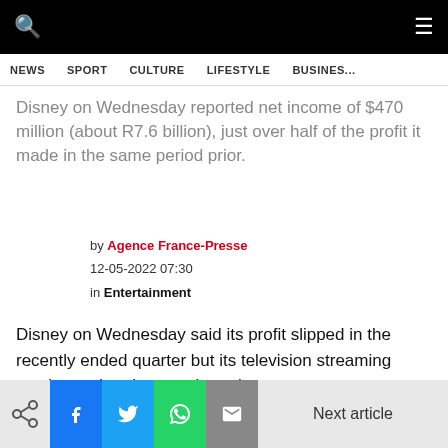NEWS  SPORT  CULTURE  LIFESTYLE  BUSINESS
Disney on Wednesday reported net income of $470 million (about R7.6 billion), just over half of the profit it made in the same period prior.
by Agence France-Presse
12-05-2022 07:30
in Entertainment
Disney on Wednesday said its profit slipped in the recently ended quarter but its television streaming service and parks were booming.
Next article